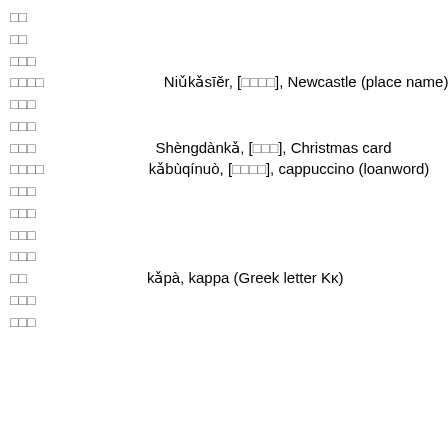□□
□□
□□□
□□□□    Niǔkǎsīěr, [□□□□], Newcastle (place name)
□□□
□□□
□□□    Shèngdànkǎ, [□□□], Christmas card
□□□□    kǎbùqínuò, [□□□□], cappuccino (loanword)
□□□
□□□
□□□
□□□
□□    kǎpà, kappa (Greek letter Kκ)
□□□
□□□